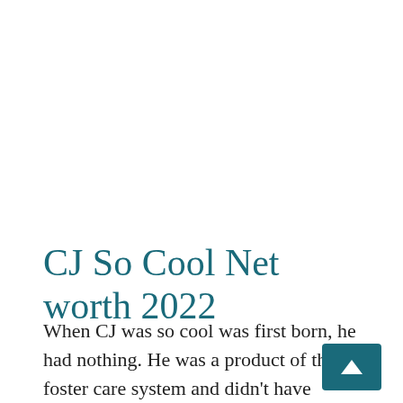CJ So Cool Net worth 2022
When CJ was so cool was first born, he had nothing. He was a product of the foster care system and didn't have much support from